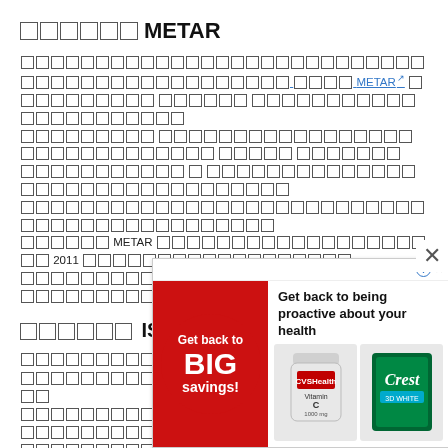□□□□□□ METAR
□□□□□□□□□□□□□□□□□□□□□□□□□□□□□□□□□□□□□□□□□□□□□□□□□□□□□□□□ METAR □□□□□□□□□□□□□□□□□□□□□□□□□□□□□□□□□□□□□□□□□□□□□□□□□□□□□□□□□□□□□□□□□□□□□□□□□□□□□□□□□□□□□□□□□□□□□□□□□□□□□□□□□□□□□□□□□□□□□□□□□□□□□□□□□□□□□□□□□□□□□□□□□ METAR □□□□□□□□□□□□□□□□□□□□ 2011 □□□□□□□□□□□□□□□□□□□□□□□□□□□□□□□□□□□□□□□□□□□□□
□□□□□□ ISD
□□□□□□□□□□□□□□□□□□□□□□□□□□□□□□□□□□□□□□□□□ NOAA □□□□□□□□□□□□□□□□□□□□□□□□□□□□□□□□□□□□□□□□□□□□□□□□□□□□□ (ISD) □□□□□□□□□□□□□□□□□□□□□□□□□□□□□□□□□□□□□□□□□□□□□□□□□□□□□□□□□□□□□□□□□□□□□□□□□□ ISD □□□□□□□□□□□□□□□□□□□□□□□□□□□□□□□□□ METAR □□□□□□□□
[Figure (other): Advertisement banner: CVS Health promotion - Get back to BIG savings! with product images of CVS Health vitamin C supplement and Crest toothpaste. Text: Get back to being proactive about your health]